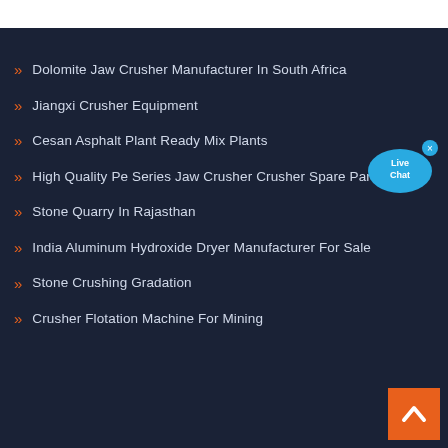Dolomite Jaw Crusher Manufacturer In South Africa
Jiangxi Crusher Equipment
Cesan Asphalt Plant Ready Mix Plants
High Quality Pe Series Jaw Crusher Crusher Spare Parts
Stone Quarry In Rajasthan
India Aluminum Hydroxide Dryer Manufacturer For Sale
Stone Crushing Gradation
Crusher Flotation Machine For Mining
[Figure (illustration): Live Chat button — blue speech bubble with 'Live Chat' text and an 'x' close button in top right corner]
[Figure (illustration): Orange back-to-top button with white upward chevron arrow]